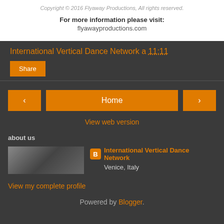Copyright © 2016 Flyaway Productions, All rights reserved.
For more information please visit:
flyawayproductions.com
International Vertical Dance Network a 11:11
Share
Home
View web version
about us
International Vertical Dance Network
Venice, Italy
View my complete profile
Powered by Blogger.